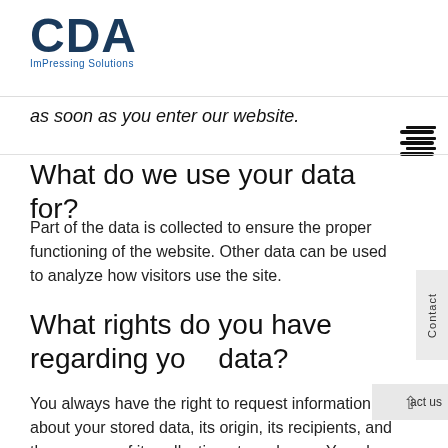CDA ImPressing Solutions
as soon as you enter our website.
What do we use your data for?
Part of the data is collected to ensure the proper functioning of the website. Other data can be used to analyze how visitors use the site.
What rights do you have regarding your data?
You always have the right to request information about your stored data, its origin, its recipients, and the purpose of its collection at no charge. You also have the right to request that it be corrected, blocked, or deleted. You can contact us at any time using the address given in the legal notice if you